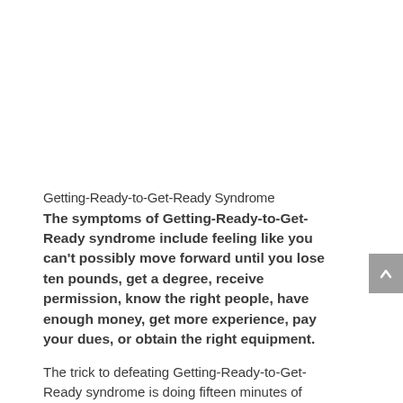Getting-Ready-to-Get-Ready Syndrome
The symptoms of Getting-Ready-to-Get-Ready syndrome include feeling like you can't possibly move forward until you lose ten pounds, get a degree, receive permission, know the right people, have enough money, get more experience, pay your dues, or obtain the right equipment.
The trick to defeating Getting-Ready-to-Get-Ready syndrome is doing fifteen minutes of research. (And